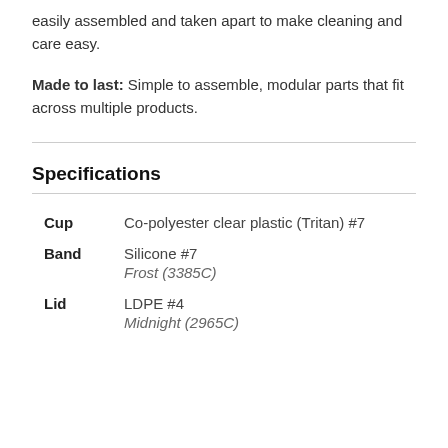easily assembled and taken apart to make cleaning and care easy.
Made to last: Simple to assemble, modular parts that fit across multiple products.
Specifications
|  |  |
| --- | --- |
| Cup | Co-polyester clear plastic (Tritan) #7 |
| Band | Silicone #7
Frost (3385C) |
| Lid | LDPE #4
Midnight (2965C) |